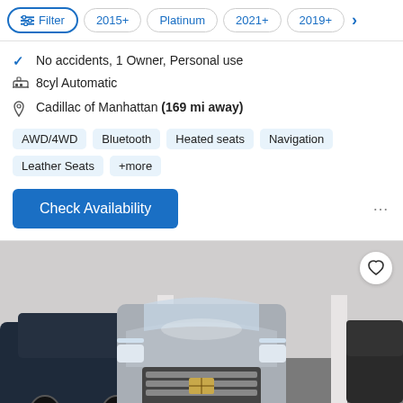Filter | 2015+ | Platinum | 2021+ | 2019+ >
No accidents, 1 Owner, Personal use
8cyl Automatic
Cadillac of Manhattan (169 mi away)
AWD/4WD  Bluetooth  Heated seats  Navigation  Leather Seats  +more
Check Availability
[Figure (photo): Front view of a silver Cadillac Escalade SUV parked in a dealership showroom. Other vehicles visible in the background on both sides. A heart/favorite icon button is visible in the top right corner of the image.]